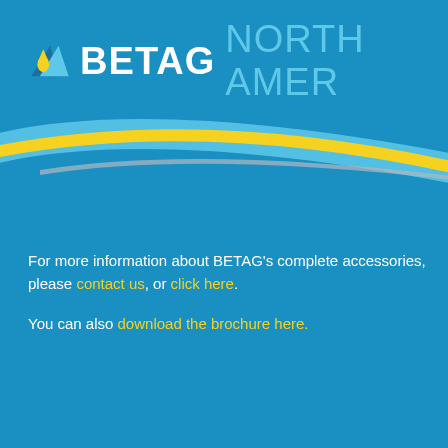[Figure (logo): BETAG NORTH AMERICA logo with triangular droplet icon in blue and yellow on blue background with decorative swoosh ribbon elements in yellow, light blue, and silver/grey]
For more information about BETAG's complete accessories, please contact us, or click here. You can also download the brochure here.